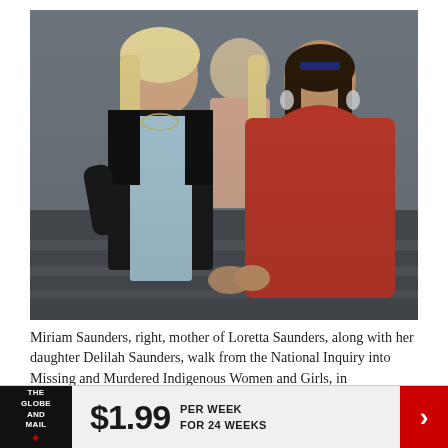[Figure (photo): Two women walking together, holding hands. On the left, a younger woman with blonde hair wearing a light blue dress and black blazer. On the right, an older woman with dark grey hair wearing a red top/shawl. A third woman visible in the background. Setting appears to be inside a public building with stairs.]
Miriam Saunders, right, mother of Loretta Saunders, along with her daughter Delilah Saunders, walk from the National Inquiry into Missing and Murdered Indigenous Women and Girls, in Membertou, N.S. on Oct. 30, 2017.
THE GLOBE AND MAIL  $1.99  PER WEEK FOR 24 WEEKS